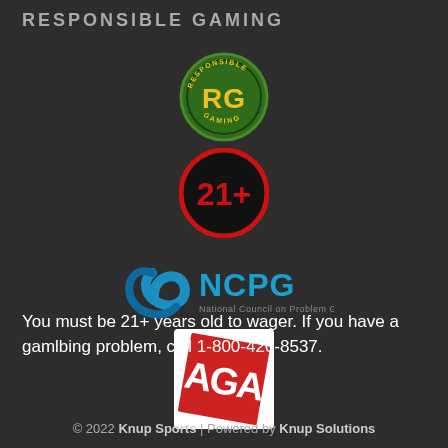RESPONSIBLE GAMING
[Figure (logo): RG Responsible Gaming circular badge — green circle with yellow RG letters and yellow text 'RESPONSIBLE GAMING' around the border]
[Figure (logo): 21+ age restriction badge — black circle with red border and red/bold '21+' text]
[Figure (logo): NCPG National Council on Problem Gambling logo — blue swirl icon with 'NCPG' text and 'National Council on Problem Gambling' subtitle]
[Figure (logo): AGA American Gaming Association logo — red square with white diagonal AGA letters]
You must be 21+ years old to wager. If you have a gamlbing problem, call 1-800-426-8537.
© 2022 Knup Sports | Powered by Knup Solutions